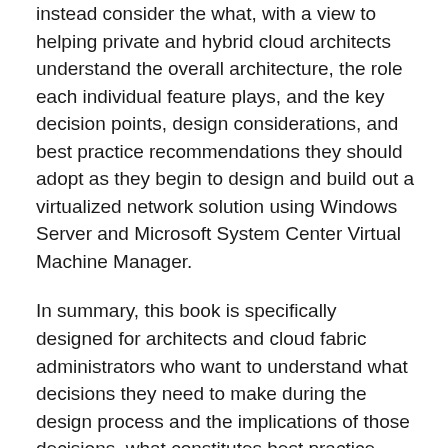instead consider the what, with a view to helping private and hybrid cloud architects understand the overall architecture, the role each individual feature plays, and the key decision points, design considerations, and best practice recommendations they should adopt as they begin to design and build out a virtualized network solution using Windows Server and Microsoft System Center Virtual Machine Manager.
In summary, this book is specifically designed for architects and cloud fabric administrators who want to understand what decisions they need to make during the design process and the implications of those decisions, what constitutes best practice, and, ultimately, what they need to do to build out a virtualized network solution that meets today's business requirements while also providing a platform for future growth and expansion.
New to this second edition are chapters covering the Hyper-